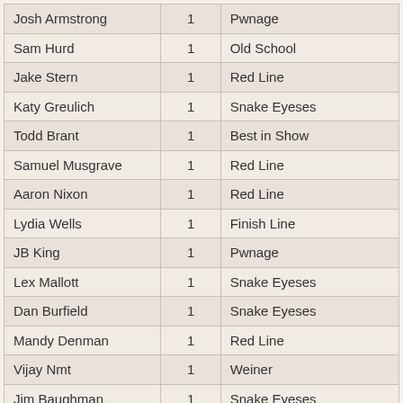| Josh Armstrong | 1 | Pwnage |
| Sam Hurd | 1 | Old School |
| Jake Stern | 1 | Red Line |
| Katy Greulich | 1 | Snake Eyeses |
| Todd Brant | 1 | Best in Show |
| Samuel Musgrave | 1 | Red Line |
| Aaron Nixon | 1 | Red Line |
| Lydia Wells | 1 | Finish Line |
| JB King | 1 | Pwnage |
| Lex Mallott | 1 | Snake Eyeses |
| Dan Burfield | 1 | Snake Eyeses |
| Mandy Denman | 1 | Red Line |
| Vijay Nmt | 1 | Weiner |
| Jim Baughman | 1 | Snake Eyeses |
| Amee Baceo | 1 | Snake Eyeses |
| Christina Ricci | 1 | Red Line |